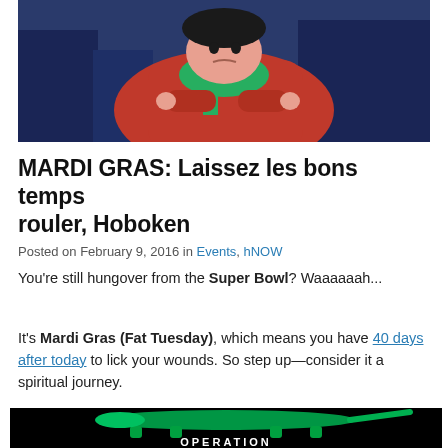[Figure (illustration): Comic-style illustration of a character in red costume with green scarf, against blue background]
MARDI GRAS: Laissez les bons temps rouler, Hoboken
Posted on February 9, 2016 in Events, hNOW
You're still hungover from the Super Bowl? Waaaaaah...
It's Mardi Gras (Fat Tuesday), which means you have 40 days after today to lick your wounds. So step up—consider it a spiritual journey.
[Figure (photo): Green glowing alligator figurine on black background with text below]